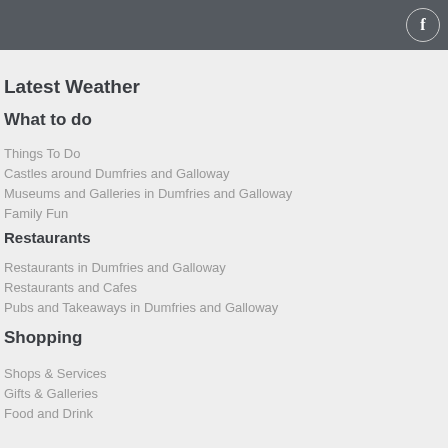f
Latest Weather
What to do
Things To Do
Castles around Dumfries and Galloway
Museums and Galleries in Dumfries and Galloway
Family Fun
Restaurants
Restaurants in Dumfries and Galloway
Restaurants and Cafes
Pubs and Takeaways in Dumfries and Galloway
Shopping
Shops & Services
Gifts & Galleries
Food and Drink